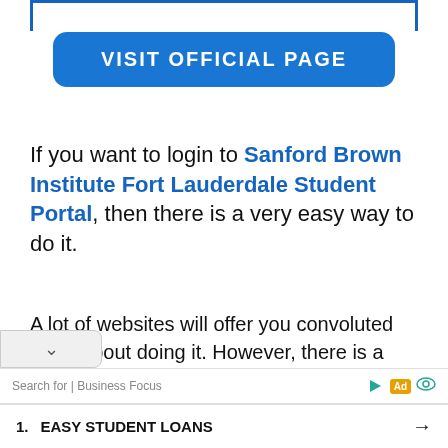[Figure (other): Blue rounded rectangle button labeled VISIT OFFICIAL PAGE]
If you want to login to Sanford Brown Institute Fort Lauderdale Student Portal, then there is a very easy way to do it.
A lot of websites will offer you convoluted ways about doing it. However, there is a much easier way. All you need to do is follow these simple instructions below.
Search for | Business Focus  1. EASY STUDENT LOANS →